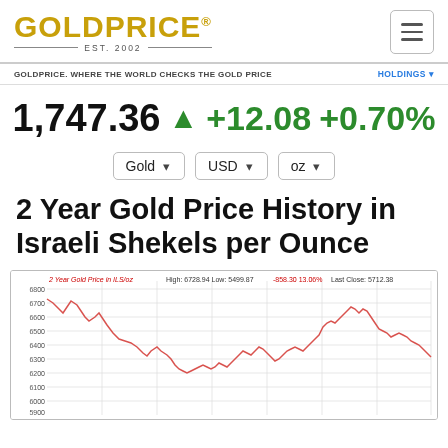[Figure (logo): GoldPrice logo with EST. 2002 tagline and hamburger menu icon]
GOLDPRICE. WHERE THE WORLD CHECKS THE GOLD PRICE    HOLDINGS
1,747.36 ▲ +12.08 +0.70%
Gold  USD  oz
2 Year Gold Price History in Israeli Shekels per Ounce
[Figure (line-chart): 2-year line chart of gold price in Israeli Shekels per ounce. High: 6728.94, Low: 5499.87, -858.30, 13.06%. Last Close: 5712.38. Y-axis from ~5800 to 6800.]